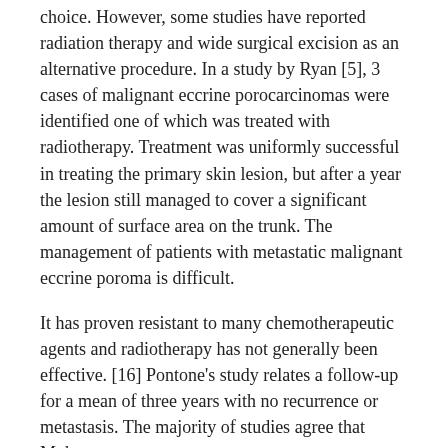choice. However, some studies have reported radiation therapy and wide surgical excision as an alternative procedure. In a study by Ryan [5], 3 cases of malignant eccrine porocarcinomas were identified one of which was treated with radiotherapy. Treatment was uniformly successful in treating the primary skin lesion, but after a year the lesion still managed to cover a significant amount of surface area on the trunk. The management of patients with metastatic malignant eccrine poroma is difficult.
It has proven resistant to many chemotherapeutic agents and radiotherapy has not generally been effective. [16] Pontone's study relates a follow-up for a mean of three years with no recurrence or metastasis. The majority of studies agree that Mohs